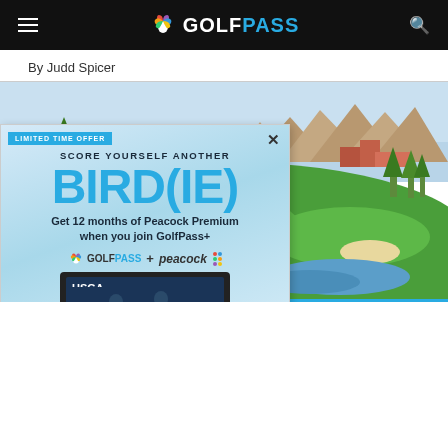GOLFPASS
By Judd Spicer
[Figure (screenshot): Advertisement overlay on a golf course photo. Ad reads: LIMITED TIME OFFER / SCORE YOURSELF ANOTHER / BIRD(IE) / Get 12 months of Peacock Premium when you join GolfPass+ / GOLFPASS + peacock / [TV screen showing USGA content] / JOIN NOW / $4.99/mo w/o an. Eligibility restrictions and terms apply.]
[Figure (photo): Golf course aerial/landscape photo showing green fairways, trees, mountains in background, buildings visible, and a water hazard]